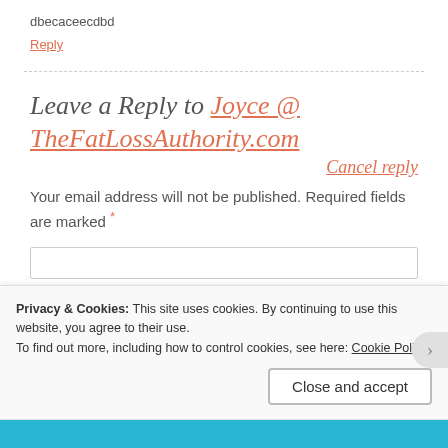dbecaceecdbd
Reply
Leave a Reply to Joyce @ TheFatLossAuthority.com
Cancel reply
Your email address will not be published. Required fields are marked *
Privacy & Cookies: This site uses cookies. By continuing to use this website, you agree to their use.
To find out more, including how to control cookies, see here: Cookie Policy
Close and accept